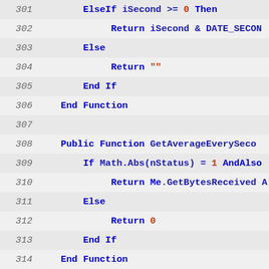[Figure (screenshot): Source code viewer showing Visual Basic .NET code, lines 301-328+, with line numbers on the left, alternating light gray row backgrounds, keywords in bold blue, numeric/string literals in red-orange. Code includes ElseIf, Return, Else, End If, End Function, Public Function declarations for GetAverageEverySeco..., GetAverageLastTime(), GetBytesReceived(), and conditionals using Math.Abs, nStatus, AndAlso, Me.GetBytesReceived, Me.GetLastBytes, lBytesReceived.]